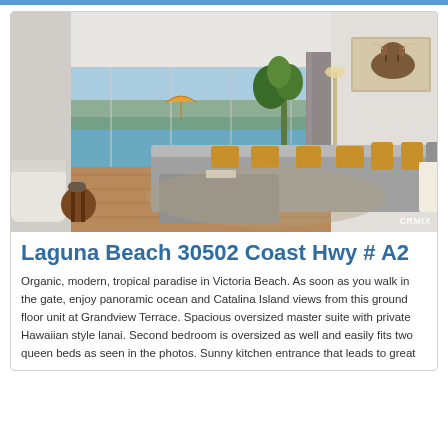[Figure (photo): Interior living room of a beach condo with panoramic ocean views, grey sectional sofa with yellow cushions, hardwood floors, large sliding glass doors leading to a balcony, indoor plant, and a highland cow artwork on the wall. CRMIX watermark in bottom right.]
Laguna Beach 30502 Coast Hwy # A2
Organic, modern, tropical paradise in Victoria Beach. As soon as you walk in the gate, enjoy panoramic ocean and Catalina Island views from this ground floor unit at Grandview Terrace. Spacious oversized master suite with private Hawaiian style lanai. Second bedroom is oversized as well and easily fits two queen beds as seen in the photos. Sunny kitchen entrance that leads to great